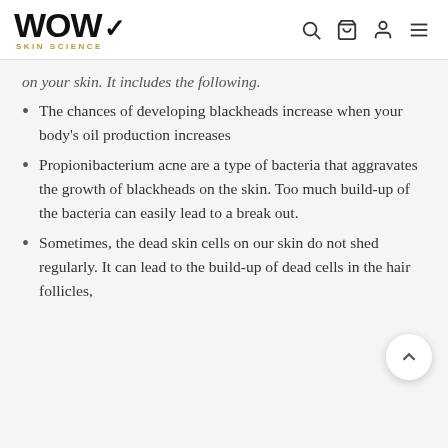WOW SKIN SCIENCE
on your skin. It includes the following.
The chances of developing blackheads increase when your body's oil production increases
Propionibacterium acne are a type of bacteria that aggravates the growth of blackheads on the skin. Too much build-up of the bacteria can easily lead to a break out.
Sometimes, the dead skin cells on our skin do not shed regularly. It can lead to the build-up of dead cells in the hair follicles,